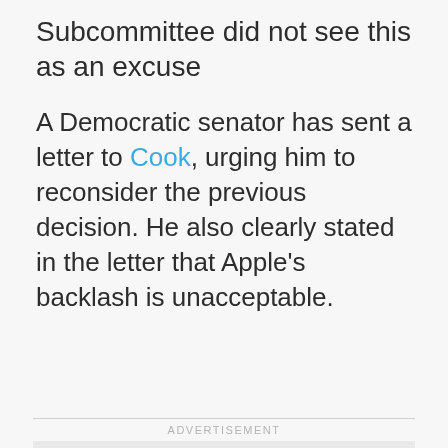Subcommittee did not see this as an excuse
A Democratic senator has sent a letter to Cook, urging him to reconsider the previous decision. He also clearly stated in the letter that Apple's backlash is unacceptable.
ADVERTISEMENT